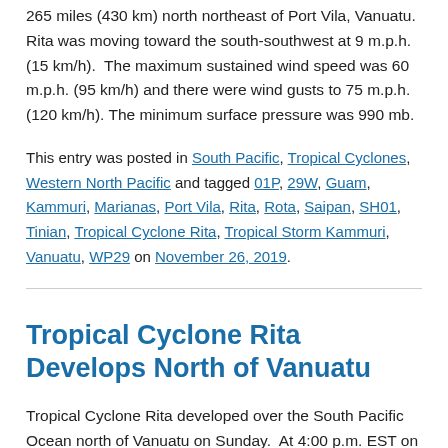265 miles (430 km) north northeast of Port Vila, Vanuatu. Rita was moving toward the south-southwest at 9 m.p.h. (15 km/h).  The maximum sustained wind speed was 60 m.p.h. (95 km/h) and there were wind gusts to 75 m.p.h. (120 km/h). The minimum surface pressure was 990 mb.
This entry was posted in South Pacific, Tropical Cyclones, Western North Pacific and tagged 01P, 29W, Guam, Kammuri, Marianas, Port Vila, Rita, Rota, Saipan, SH01, Tinian, Tropical Cyclone Rita, Tropical Storm Kammuri, Vanuatu, WP29 on November 26, 2019.
Tropical Cyclone Rita Develops North of Vanuatu
Tropical Cyclone Rita developed over the South Pacific Ocean north of Vanuatu on Sunday.  At 4:00 p.m. EST on Sunday the